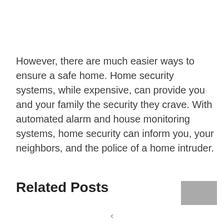However, there are much easier ways to ensure a safe home. Home security systems, while expensive, can provide you and your family the security they crave. With automated alarm and house monitoring systems, home security can inform you, your neighbors, and the police of a home intruder.
Related Posts